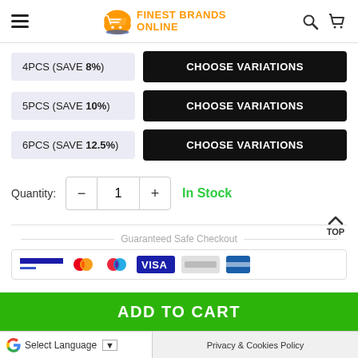[Figure (logo): Finest Brands Online logo with shopping cart icon in orange]
4PCS (SAVE 8%) — CHOOSE VARIATIONS
5PCS (SAVE 10%) — CHOOSE VARIATIONS
6PCS (SAVE 12.5%) — CHOOSE VARIATIONS
Quantity: - 1 + In Stock
Guaranteed Safe Checkout
[Figure (infographic): Payment method icons: bank transfer, Mastercard, Maestro, Visa, and other payment logos]
ADD TO CART
Select Language
Privacy & Cookies Policy